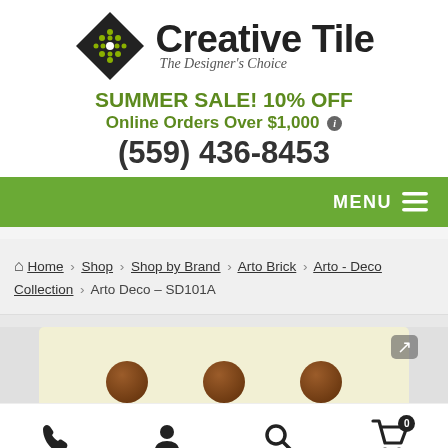[Figure (logo): Creative Tile logo with diamond-shaped icon containing green dots pattern and text 'Creative Tile - The Designer's Choice']
SUMMER SALE! 10% OFF
Online Orders Over $1,000 ℹ
(559) 436-8453
[Figure (other): Green navigation bar with MENU label and hamburger icon]
Home > Shop > Shop by Brand > Arto Brick > Arto - Deco Collection > Arto Deco – SD101A
[Figure (photo): Partial product image showing tile with brown circular elements on cream/yellow background]
[Figure (other): Bottom navigation bar with phone, user, search, and cart icons]